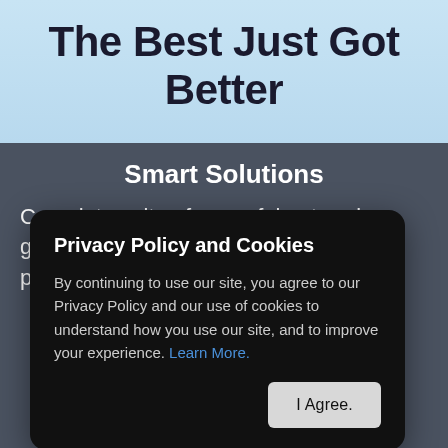The Best Just Got Better
Privacy Policy and Cookies
By continuing to use our site, you agree to our Privacy Policy and our use of cookies to understand how you use our site, and to improve your experience. Learn More.
Smart Solutions
Complete suite of powerful enterprise-grade components for a consistent and productive